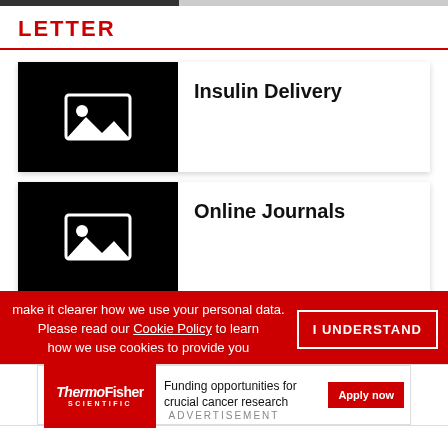LETTER
[Figure (illustration): Black card with white image placeholder icon for Insulin Delivery]
Insulin Delivery
[Figure (illustration): Black card with image placeholder icon for Online Journals]
Online Journals
make it clearer how we use your personal data. Please read our Cookie Policy to learn how we use cookies to provide you
I UNDERSTAND
[Figure (logo): ThermoFisher Scientific logo in red]
Funding opportunities for crucial cancer research
Apply now
ADVERTISEMENT